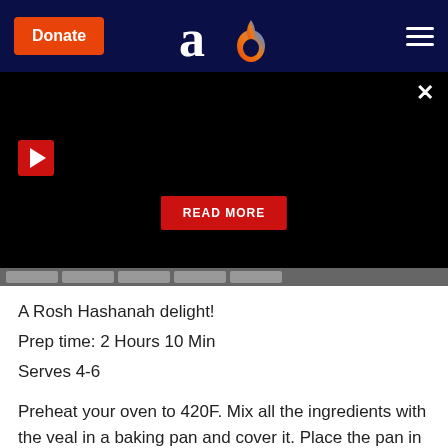Donate | [logo: aish.com] | [hamburger menu]
[Figure (screenshot): Black video banner with red play button in top-left, X close button in top-right, and a red READ MORE button centered near the bottom. Below the banner is a grey carousel/thumbnail strip.]
A Rosh Hashanah delight!
Prep time: 2 Hours 10 Min
Serves 4-6
Preheat your oven to 420F. Mix all the ingredients with the veal in a baking pan and cover it. Place the pan in